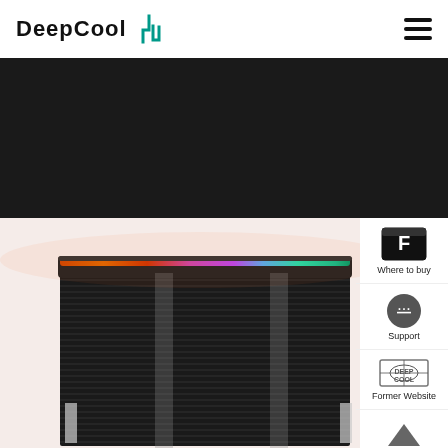DeepCool
[Figure (photo): DeepCool CPU cooler with RGB lighting strip on top, showing heat sink fins in dark/black finish against a light pinkish background. Dark banner region at top.]
Where to buy
Support
Former Website
TOP